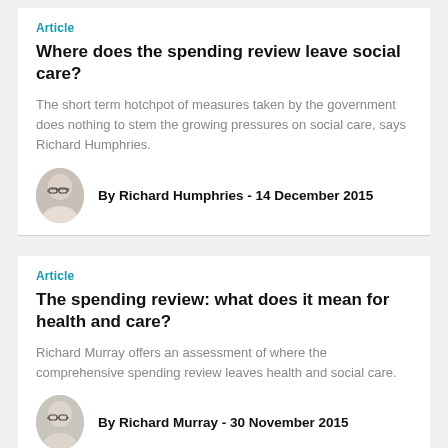Article
Where does the spending review leave social care?
The short term hotchpot of measures taken by the government does nothing to stem the growing pressures on social care, says Richard Humphries.
By Richard Humphries - 14 December 2015
Article
The spending review: what does it mean for health and care?
Richard Murray offers an assessment of where the comprehensive spending review leaves health and social care.
By Richard Murray - 30 November 2015